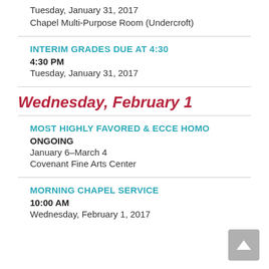Tuesday, January 31, 2017
Chapel Multi-Purpose Room (Undercroft)
INTERIM GRADES DUE AT 4:30
4:30 PM
Tuesday, January 31, 2017
Wednesday, February 1
MOST HIGHLY FAVORED & ECCE HOMO
ONGOING
January 6–March 4
Covenant Fine Arts Center
MORNING CHAPEL SERVICE
10:00 AM
Wednesday, February 1, 2017